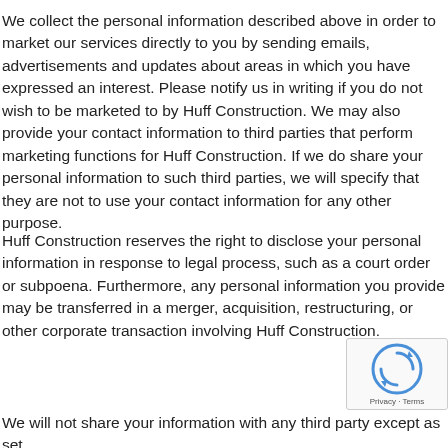We collect the personal information described above in order to market our services directly to you by sending emails, advertisements and updates about areas in which you have expressed an interest. Please notify us in writing if you do not wish to be marketed to by Huff Construction. We may also provide your contact information to third parties that perform marketing functions for Huff Construction. If we do share your personal information to such third parties, we will specify that they are not to use your contact information for any other purpose.
Huff Construction reserves the right to disclose your personal information in response to legal process, such as a court order or subpoena. Furthermore, any personal information you provide may be transferred in a merger, acquisition, restructuring, or other corporate transaction involving Huff Construction.
We will not share your information with any third party except as set